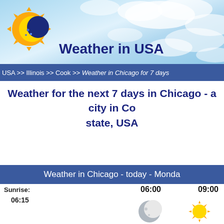Weather in USA
USA >> Illinois >> Cook >> Weather in Chicago for 7 days
Weather for the next 7 days in Chicago - a city in Cook state, USA
Weather in Chicago - today - Monday
Sunrise: 06:15
06:00   09:00